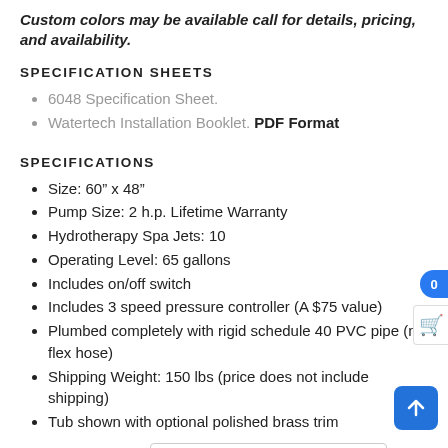Custom colors may be available call for details, pricing, and availability.
SPECIFICATION SHEETS
6048 Specification Sheet.
Watertech Installation Booklet. PDF Format
SPECIFICATIONS
Size: 60” x 48”
Pump Size: 2 h.p. Lifetime Warranty
Hydrotherapy Spa Jets: 10
Operating Level: 65 gallons
Includes on/off switch
Includes 3 speed pressure controller (A $75 value)
Plumbed completely with rigid schedule 40 PVC pipe (no flex hose)
Shipping Weight: 150 lbs (price does not include shipping)
Tub shown with optional polished brass trim
Bathtub color    White    Clear